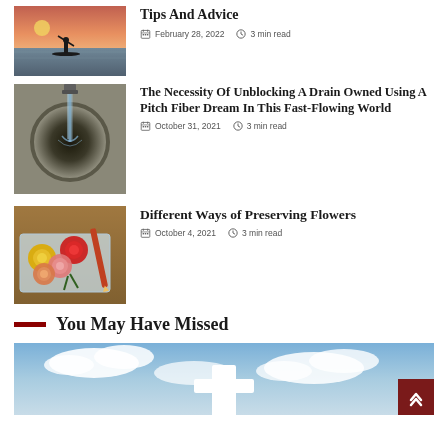Tips And Advice
February 28, 2022  3 min read
[Figure (photo): Person paddleboarding at sunset on calm water]
The Necessity Of Unblocking A Drain Owned Using A Pitch Fiber Dream In This Fast-Flowing World
October 31, 2021  3 min read
[Figure (photo): Close-up of a drain being cleaned with a high-pressure water jet]
Different Ways of Preserving Flowers
October 4, 2021  3 min read
[Figure (photo): Colorful roses in a plastic container on a wooden table]
You May Have Missed
[Figure (photo): White cross against a blue sky with clouds]